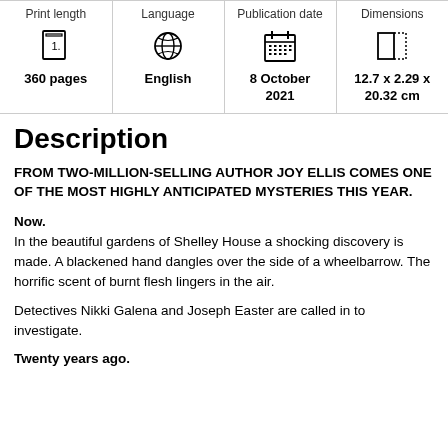| Print length | Language | Publication date | Dimensions |
| --- | --- | --- | --- |
| 360 pages | English | 8 October 2021 | 12.7 x 2.29 x 20.32 cm |
Description
FROM TWO-MILLION-SELLING AUTHOR JOY ELLIS COMES ONE OF THE MOST HIGHLY ANTICIPATED MYSTERIES THIS YEAR.
Now.
In the beautiful gardens of Shelley House a shocking discovery is made. A blackened hand dangles over the side of a wheelbarrow. The horrific scent of burnt flesh lingers in the air.
Detectives Nikki Galena and Joseph Easter are called in to investigate.
Twenty years ago.